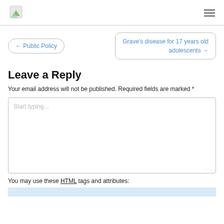[Logo icon] [Hamburger menu]
← Public Policy
Grave's disease for 17 years old adolescents →
Leave a Reply
Your email address will not be published. Required fields are marked *
Start typing...
You may use these HTML tags and attributes: